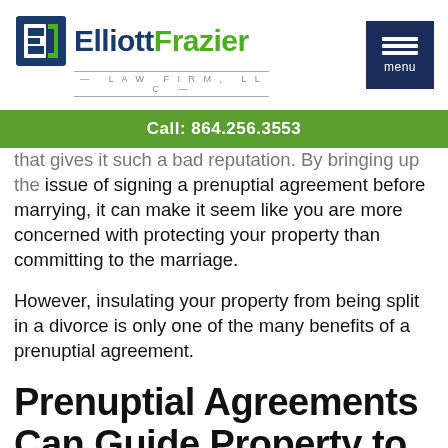Elliott Frazier Law Firm, LLC — menu
Call: 864.256.3553
that gives it such a bad reputation. By bringing up the issue of signing a prenuptial agreement before marrying, it can make it seem like you are more concerned with protecting your property than committing to the marriage.
However, insulating your property from being split in a divorce is only one of the many benefits of a prenuptial agreement.
Prenuptial Agreements Can Guide Property to